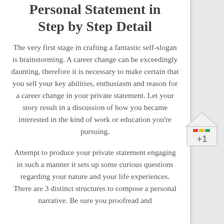Personal Statement in Step by Step Detail
The very first stage in crafting a fantastic self-slogan is brainstorming. A career change can be exceedingly daunting, therefore it is necessary to make certain that you sell your key abilities, enthusiasm and reason for a career change in your private statement. Let your story result in a discussion of how you became interested in the kind of work or education you're pursuing.
Attempt to produce your private statement engaging in such a manner it sets up some curious questions regarding your nature and your life experiences. There are 3 distinct structures to compose a personal narrative. Be sure you proofread and